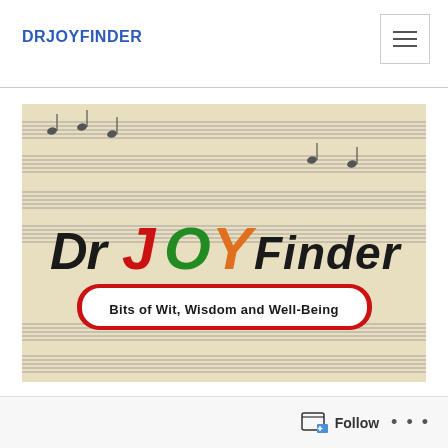DRJOYFINDER
[Figure (photo): DrJoyFinder blog header image showing the logo 'Dr JoyFinder' in colorful hand-lettered text (black, red, green, orange) with a subtitle banner reading 'Bits of Wit, Wisdom and Well-Being' on a background of sheet music]
Follow ...